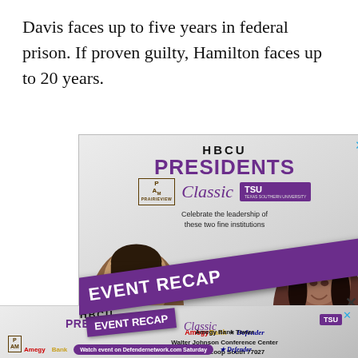Davis faces up to five years in federal prison. If proven guilty, Hamilton faces up to 20 years.
[Figure (infographic): HBCU Presidents Classic advertisement with 'EVENT RECAP' overlay banner. Features two women's portraits, Prairie View A&M and TSU logos, sponsors AmegyBank and Defender. Venue: Amegy Bank Tower, Walter Johnson Conference Center, 1717 W. Loop South 77027. 5:30 pm Reception, 6:30 pm Program. 'Watch event on Defendernetwork.com Saturday']
[Figure (infographic): Second smaller HBCU Presidents Classic advertisement at bottom with EVENT RECAP overlay, AmegyBank and Defender logos, TSU badge]